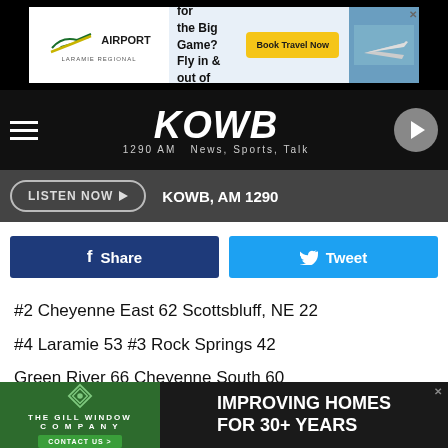[Figure (other): Airport advertisement banner: Coming for the Big Game? Fly in & out of Laramie! Book Travel Now]
[Figure (logo): KOWB 1290 AM News, Sports, Talk radio station logo and navigation header]
LISTEN NOW  KOWB, AM 1290
Share  Tweet
#2 Cheyenne East 62 Scottsbluff, NE 22
#4 Laramie 53 #3 Rock Springs 42
Green River 66 Cheyenne South 60
Billings, MT Skyview 47 Sheridan 40
[Figure (other): The Gill Window Company advertisement: Improving Homes For 30+ Years, Contact Us]